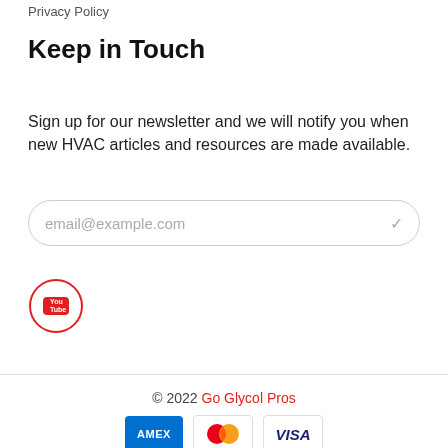Privacy Policy
Keep in Touch
Sign up for our newsletter and we will notify you when new HVAC articles and resources are made available.
email@example.com
[Figure (logo): YouTube logo in a red circle outline]
© 2022 Go Glycol Pros
[Figure (logo): Payment method logos: American Express (AMEX), Mastercard, and Visa cards]